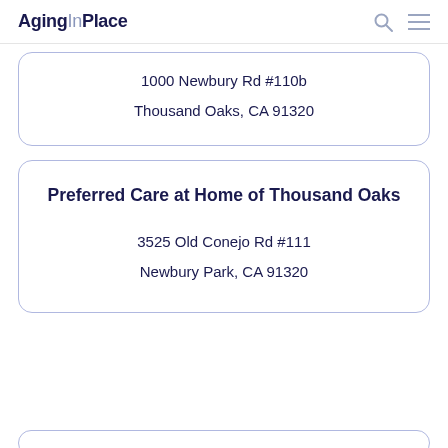AgingInPlace
1000 Newbury Rd #110b
Thousand Oaks, CA 91320
Preferred Care at Home of Thousand Oaks
3525 Old Conejo Rd #111
Newbury Park, CA 91320